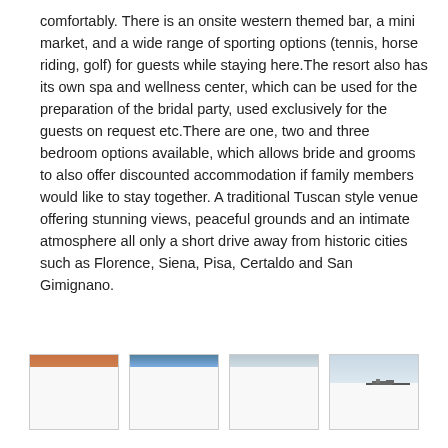comfortably. There is an onsite western themed bar, a mini market, and a wide range of sporting options (tennis, horse riding, golf) for guests while staying here.The resort also has its own spa and wellness center, which can be used for the preparation of the bridal party, used exclusively for the guests on request etc.There are one, two and three bedroom options available, which allows bride and grooms to also offer discounted accommodation if family members would like to stay together. A traditional Tuscan style venue offering stunning views, peaceful grounds and an intimate atmosphere all only a short drive away from historic cities such as Florence, Siena, Pisa, Certaldo and San Gimignano.
[Figure (photo): Four small thumbnail images in a row at the bottom of the page. First thumbnail has an orange/warm toned top strip. Second has a blue sky top strip. Third has a light blue/grey top strip. Fourth has a light blue sky top strip with a small ship silhouette visible.]